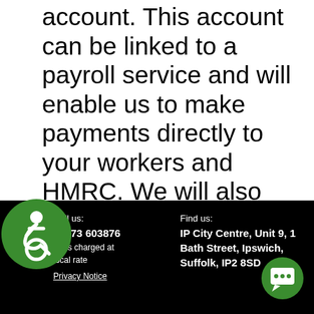account. This account can be linked to a payroll service and will enable us to make payments directly to your workers and HMRC. We will also liaise with Suffolk County Council with respect to your Direct Payments monitoring as requested.
Call us: 01473 603876 Calls charged at local rate Privacy Notice | Find us: IP City Centre, Unit 9, 1 Bath Street, Ipswich, Suffolk, IP2 8SD